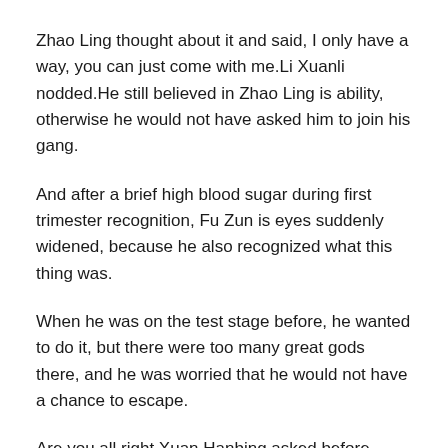Zhao Ling thought about it and said, I only have a way, you can just come with me.Li Xuanli nodded.He still believed in Zhao Ling is ability, otherwise he would not have asked him to join his gang.
And after a brief high blood sugar during first trimester recognition, Fu Zun is eyes suddenly widened, because he also recognized what this thing was.
When he was on the test stage before, he wanted to do it, but there were too many great gods there, and he was worried that he would not have a chance to escape.
Are you all right Xuan Hanbing asked before Zhao Ling could .
12.Can You Drink Milk With Diabetes 2?